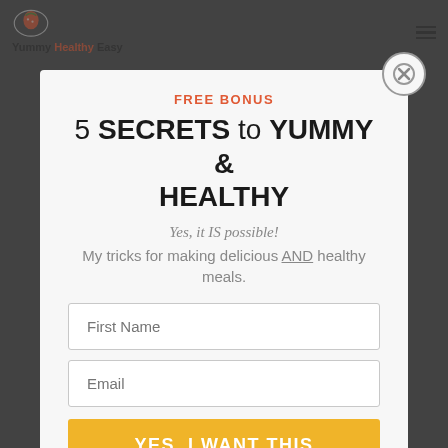Yummy Healthy Easy
[Figure (screenshot): Modal popup overlay on a food blog website with a dark background. Contains a signup form with title 'FREE BONUS 5 SECRETS to YUMMY & HEALTHY', subtitle 'Yes, it IS possible!', description text, First Name and Email fields, and a yellow submit button 'YES, I WANT THIS'.]
FREE BONUS
5 SECRETS to YUMMY & HEALTHY
Yes, it IS possible!
My tricks for making delicious AND healthy meals.
First Name
Email
YES, I WANT THIS